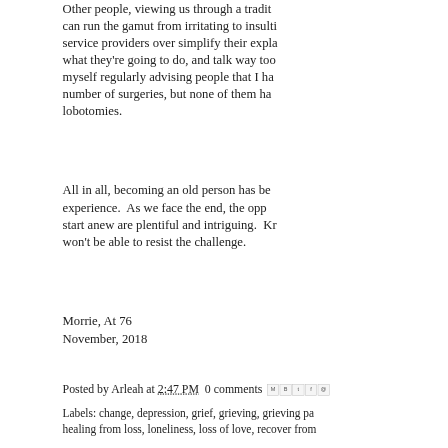Other people, viewing us through a traditional lens, can run the gamut from irritating to insulting. Medical service providers over simplify their explanations of what they're going to do, and talk way too slowly. I find myself regularly advising people that I have had a number of surgeries, but none of them have been lobotomies.
All in all, becoming an old person has been a rich experience.  As we face the end, the opportunities to start anew are plentiful and intriguing.  Knowing me, I won't be able to resist the challenge.
Morrie, At 76
November, 2018
Posted by Arleah at 2:47 PM  0 comments
Labels: change, depression, grief, grieving, grieving pa... healing from loss, loneliness, loss of love, recover from...